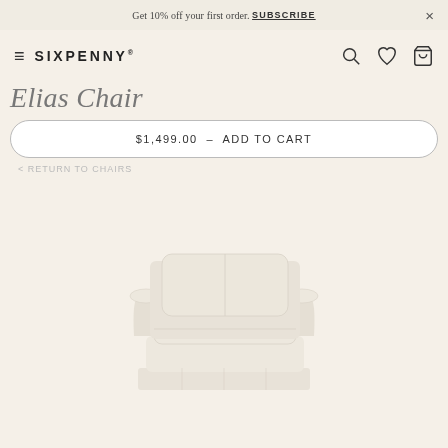Get 10% off your first order. SUBSCRIBE ×
≡ SIXPENNY®  🔍 ♡ 🛍
Elias Chair
$1,499.00 - ADD TO CART
< RETURN TO CHAIRS
[Figure (photo): A cream/off-white upholstered armchair with rolled arms and a skirted base, shown against a white background. The chair has a separate back cushion and seat cushion.]